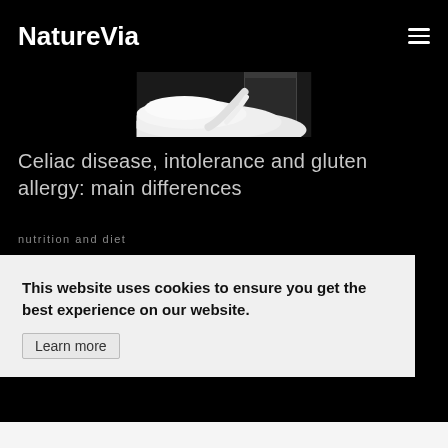NatureVia
[Figure (photo): Close-up photo of white powder (flour) spilling from a jar, on a dark background]
Celiac disease, intolerance and gluten allergy: main differences
nutrition and diet
This website uses cookies to ensure you get the best experience on our website.
Learn more